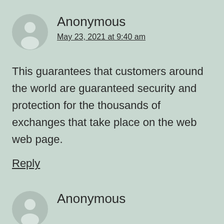[Figure (illustration): Gray circular avatar icon with anonymous user silhouette]
Anonymous
May 23, 2021 at 9:40 am
This guarantees that customers around the world are guaranteed security and protection for the thousands of exchanges that take place on the web web page.
Reply
[Figure (illustration): Gray circular avatar icon with anonymous user silhouette]
Anonymous